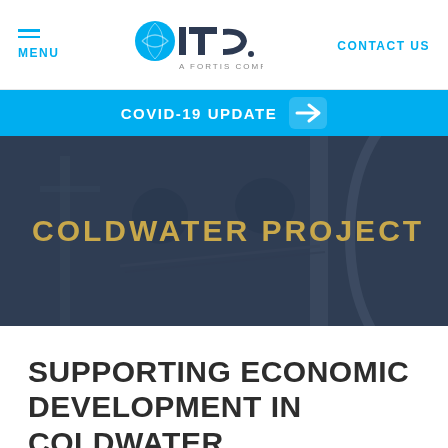MENU | ITC A FORTIS COMPANY | CONTACT US
COVID-19 UPDATE →
[Figure (photo): Workers on a transmission tower or utility structure, wearing safety gear, working with chains and equipment. Image has a dark navy blue overlay. Text overlay reads COLDWATER PROJECT.]
SUPPORTING ECONOMIC DEVELOPMENT IN COLDWATER